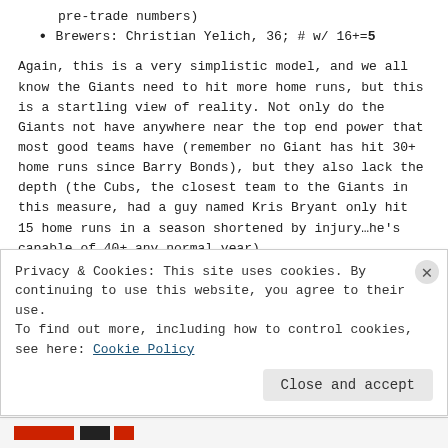pre-trade numbers)
Brewers: Christian Yelich, 36; # w/ 16+=5
Again, this is a very simplistic model, and we all know the Giants need to hit more home runs, but this is a startling view of reality. Not only do the Giants not have anywhere near the top end power that most good teams have (remember no Giant has hit 30+ home runs since Barry Bonds), but they also lack the depth (the Cubs, the closest team to the Giants in this measure, had a guy named Kris Bryant only hit 15 home runs in a season shortened by injury…he's capable of 40+ any normal year).
Part of what is worrisome about the Giants entering 2019 is not that
Privacy & Cookies: This site uses cookies. By continuing to use this website, you agree to their use.
To find out more, including how to control cookies, see here: Cookie Policy
Close and accept